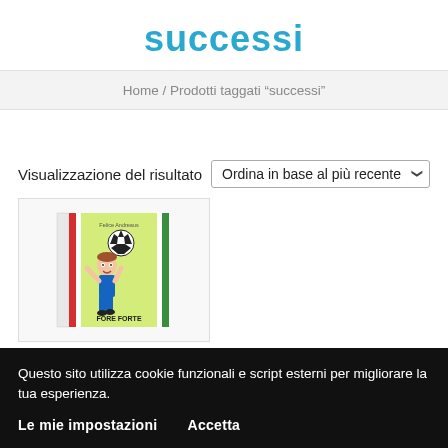successi
Home / Prodotti taggati “successi”
Visualizzazione del risultato
[Figure (illustration): Book cover showing a cartoon soccer player heading a ball, with Italian flag colors, titled something like 'Forte' at the bottom]
Questo sito utilizza cookie funzionali e script esterni per migliorare la tua esperienza.
Le mie impostazioni
Accetta